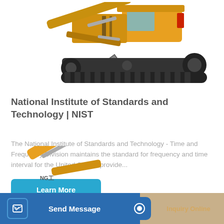[Figure (photo): Yellow crawler excavator / trackhoe viewed from the side, positioned in the upper half of the page on a white background]
National Institute of Standards and Technology | NIST
The National Institute of Standards and Technology - Time and Frequency Division maintains the standard for frequency and time interval for the United States, provide...
[Figure (other): Learn More button — teal/blue rounded rectangle]
[Figure (photo): Yellow construction equipment arm partially visible in lower section]
[Figure (other): Bottom bar with Send Message button (dark blue) and Inquiry Online button (tan/gold)]